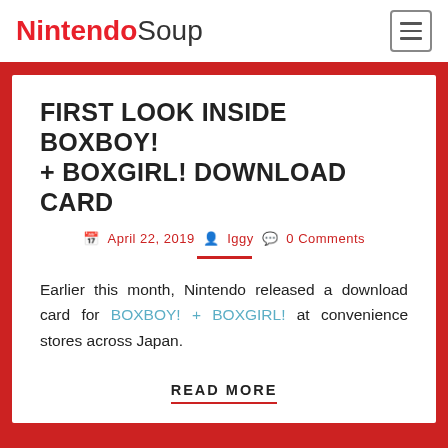NintendoSoup
FIRST LOOK INSIDE BOXBOY! + BOXGIRL! DOWNLOAD CARD
April 22, 2019  Iggy  0 Comments
Earlier this month, Nintendo released a download card for BOXBOY! + BOXGIRL! at convenience stores across Japan.
READ MORE